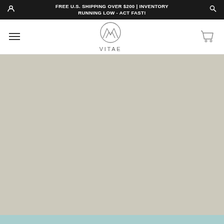FREE U.S. SHIPPING OVER $200 | INVENTORY RUNNING LOW - ACT FAST!
[Figure (logo): VITAE brand logo — a circular geometric mountain/wave mark above the word VITAE in spaced capital letters]
[Figure (photo): Large beige/tan product image area with a teal strip visible at the bottom edge]